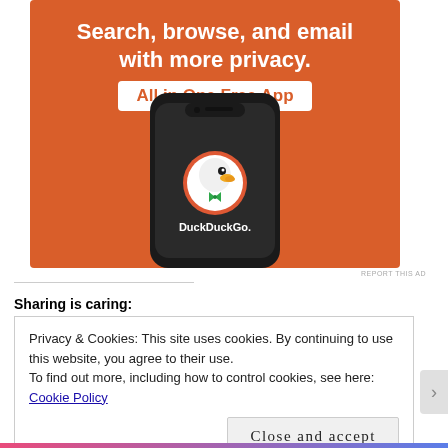[Figure (illustration): DuckDuckGo advertisement showing a smartphone with the DuckDuckGo app logo on an orange/red background. Text reads 'Search, browse, and email with more privacy. All in One Free App' with the DuckDuckGo duck logo and wordmark on the phone screen.]
REPORT THIS AD
Sharing is caring:
Privacy & Cookies: This site uses cookies. By continuing to use this website, you agree to their use.
To find out more, including how to control cookies, see here: Cookie Policy
Close and accept